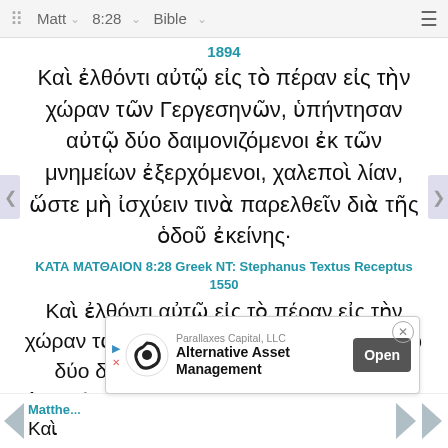Matt  8:28  Bible
1894
Καὶ ἐλθόντι αὐτῷ εἰς τὸ πέραν εἰς τὴν χώραν τῶν Γεργεσηνῶν, ὑπήντησαν αὐτῷ δύο δαιμονιζόμενοι ἐκ τῶν μνημείων ἐξερχόμενοι, χαλεποὶ λίαν, ὥστε μὴ ἰσχύειν τινὰ παρελθεῖν διὰ τῆς ὁδοῦ ἐκείνης·
ΚΑΤΑ ΜΑΤΘΑΙΟΝ 8:28 Greek NT: Stephanus Textus Receptus 1550
Καὶ ἐλθόντι αὐτῷ εἰς τὸ πέραν εἰς τὴν χώραν τῶν Γεργεσηνῶν, ὑπήντησαν αὐτῷ δύο δαιμονιζόμενοι ἐκ τῶν μνημείων ἐξερχόμενοι χαλεποὶ λίαν ὥστε μὴ ἰσχύειν τινὰ παρελθεῖν διὰ τῆς ὁδοῦ ἐκείνης
Matthew  Καὶ